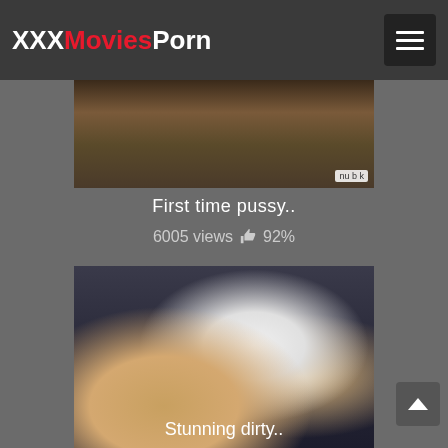XXXMoviesPorn
[Figure (screenshot): Video thumbnail showing adult content, partially cropped at top]
First time pussy..
6005 views 👍 92%
[Figure (photo): Video thumbnail showing adult content with two people]
Stunning dirty..